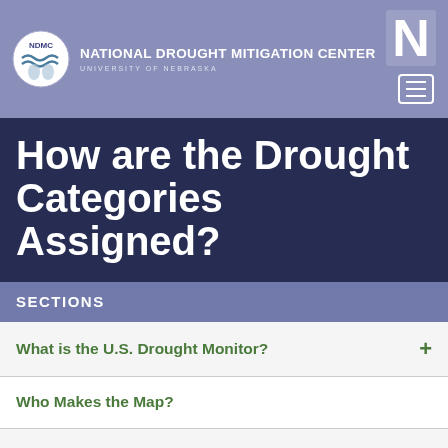NATIONAL DROUGHT MITIGATION CENTER — UNIVERSITY OF NEBRASKA
How are the Drought Categories Assigned?
SECTIONS
What is the U.S. Drought Monitor?
Who Makes the Map?
What Does the Map Show?